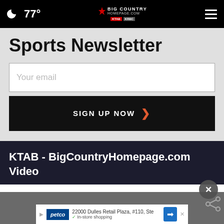77° Big Country Homepage.com
Sports Newsletter
Your email
SIGN UP NOW
KTAB - BigCountryHomepage.com Video
[Figure (screenshot): Video thumbnail partially visible at bottom of page]
22000 Dulles Retail Plaza, #110, Ste